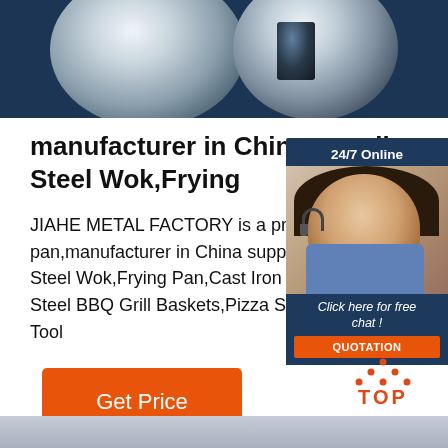[Figure (photo): Top banner with dark navy blue background and metallic steel cookware/disc shapes]
manufacturer in China supplies Steel Wok,Frying
JIAHE METAL FACTORY is a professional pan,manufacturer in China supplies Carbon Steel Wok,Frying Pan,Cast Iron Pan,Stainless Steel BBQ Grill Baskets,Pizza Stone,Kitchen Tool
[Figure (photo): Customer service chat widget showing 24/7 Online label, photo of woman with headset, Click here for free chat! text, and QUOTATION button]
[Figure (other): Orange Get Price button]
[Figure (logo): Orange TOP icon with dotted triangle above the word TOP]
[Figure (photo): Bottom metallic/silver banner strip]